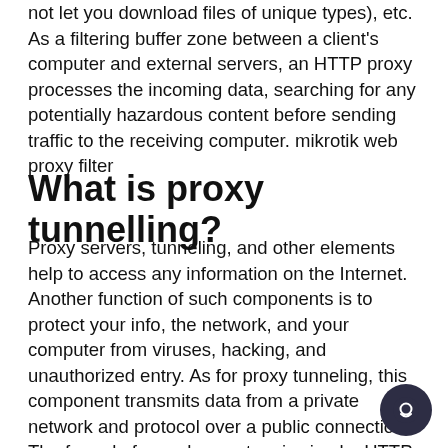not let you download files of unique types), etc. As a filtering buffer zone between a client's computer and external servers, an HTTP proxy processes the incoming data, searching for any potentially hazardous content before sending traffic to the receiving computer. mikrotik web proxy filter
What is proxy tunnelling?
Proxy servers, tunneling, and other elements help to access any information on the Internet. Another function of such components is to protect your info, the network, and your computer from viruses, hacking, and unauthorized entry. As for proxy tunneling, this component transmits data from a private network and protocol over a public connection. The formula for such a system is simple: HTTP tunneling transmits a low-level protocol using a high-level one. Proxy tunneling provides a connection with a specific website, and that's why the user gets access. mikrotik external proxy